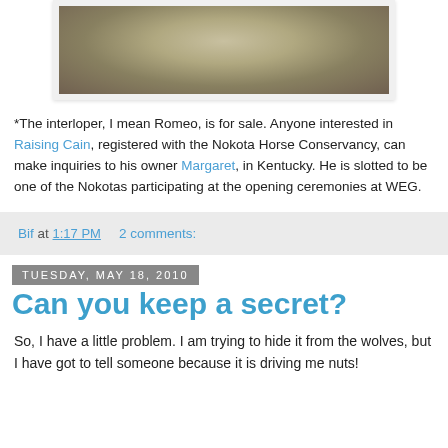[Figure (photo): Partial photo of a horse, showing the back/rump area against a green background, with a white border frame. Only the bottom portion of the photo is visible.]
*The interloper, I mean Romeo, is for sale. Anyone interested in Raising Cain, registered with the Nokota Horse Conservancy, can make inquiries to his owner Margaret, in Kentucky. He is slotted to be one of the Nokotas participating at the opening ceremonies at WEG.
Bif at 1:17 PM   2 comments:
Tuesday, May 18, 2010
Can you keep a secret?
So, I have a little problem. I am trying to hide it from the wolves, but I have got to tell someone because it is driving me nuts!